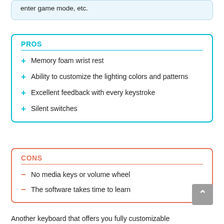enter game mode, etc.
PROS
+ Memory foam wrist rest
+ Ability to customize the lighting colors and patterns
+ Excellent feedback with every keystroke
+ Silent switches
CONS
– No media keys or volume wheel
– The software takes time to learn
Another keyboard that offers you fully customizable